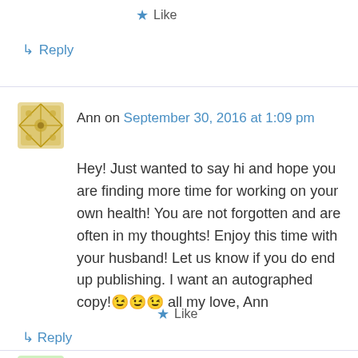★ Like
↳ Reply
Ann on September 30, 2016 at 1:09 pm
Hey! Just wanted to say hi and hope you are finding more time for working on your own health! You are not forgotten and are often in my thoughts! Enjoy this time with your husband! Let us know if you do end up publishing. I want an autographed copy!😉😉😉 all my love, Ann
★ Like
↳ Reply
Enid Breis on September 30, 2016 at 1:25 pm